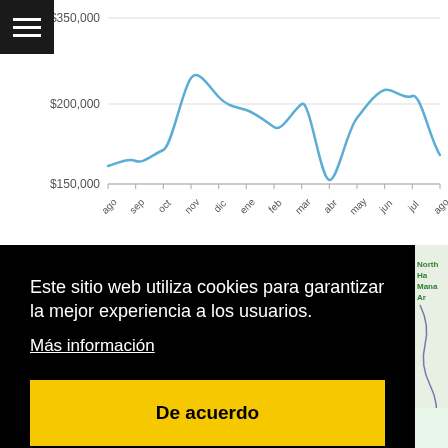[Figure (continuous-plot): Line chart showing housing prices over time from 'ago' to 'ago' (13 months). Y-axis shows values from $150,000 to $350,000+. The line rises to a peak around 'nov', drops to a trough around 'abr', then partially recovers through 'jul' before declining again.]
Este sitio web utiliza cookies para garantizar la mejor experiencia a los usuarios.
Más información
De acuerdo